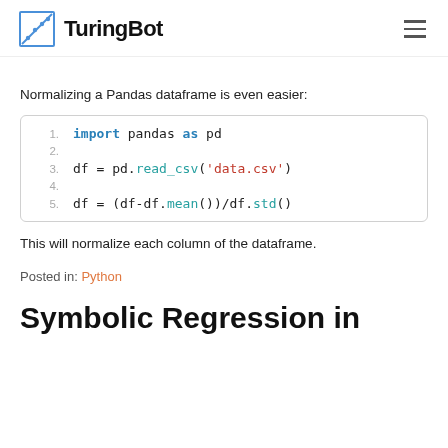TuringBot
Normalizing a Pandas dataframe is even easier:
[Figure (screenshot): Code block showing Python code: import pandas as pd, df = pd.read_csv('data.csv'), df = (df-df.mean())/df.std()]
This will normalize each column of the dataframe.
Posted in: Python
Symbolic Regression in